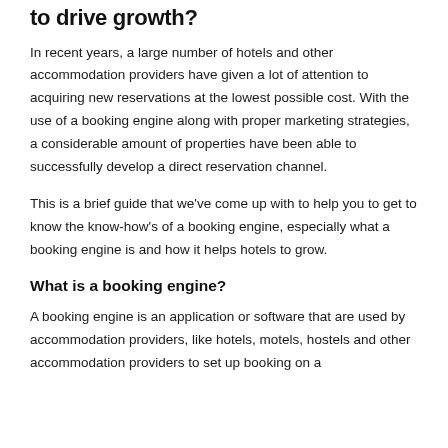to drive growth?
In recent years, a large number of hotels and other accommodation providers have given a lot of attention to acquiring new reservations at the lowest possible cost. With the use of a booking engine along with proper marketing strategies, a considerable amount of properties have been able to successfully develop a direct reservation channel.
This is a brief guide that we've come up with to help you to get to know the know-how's of a booking engine, especially what a booking engine is and how it helps hotels to grow.
What is a booking engine?
A booking engine is an application or software that are used by accommodation providers, like hotels, motels, hostels and other accommodation providers to set up booking on a...